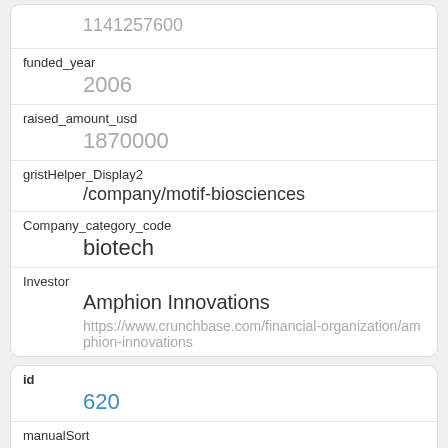1141257600
funded_year
2006
raised_amount_usd
1870000
gristHelper_Display2
/company/motif-biosciences
Company_category_code
biotech
Investor
Amphion Innovations
https://www.crunchbase.com/financial-organization/amphion-innovations
id
620
manualSort
620
Company
1267